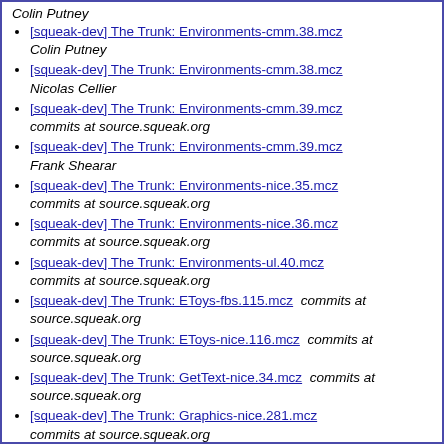Colin Putney
[squeak-dev] The Trunk: Environments-cmm.38.mcz
Colin Putney
[squeak-dev] The Trunk: Environments-cmm.38.mcz
Nicolas Cellier
[squeak-dev] The Trunk: Environments-cmm.39.mcz
commits at source.squeak.org
[squeak-dev] The Trunk: Environments-cmm.39.mcz
Frank Shearar
[squeak-dev] The Trunk: Environments-nice.35.mcz
commits at source.squeak.org
[squeak-dev] The Trunk: Environments-nice.36.mcz
commits at source.squeak.org
[squeak-dev] The Trunk: Environments-ul.40.mcz
commits at source.squeak.org
[squeak-dev] The Trunk: EToys-fbs.115.mcz  commits at source.squeak.org
[squeak-dev] The Trunk: EToys-nice.116.mcz  commits at source.squeak.org
[squeak-dev] The Trunk: GetText-nice.34.mcz  commits at source.squeak.org
[squeak-dev] The Trunk: Graphics-nice.281.mcz
commits at source.squeak.org
[squeak-dev] The Trunk: Graphics-nice.282.mcz
commits at source.squeak.org